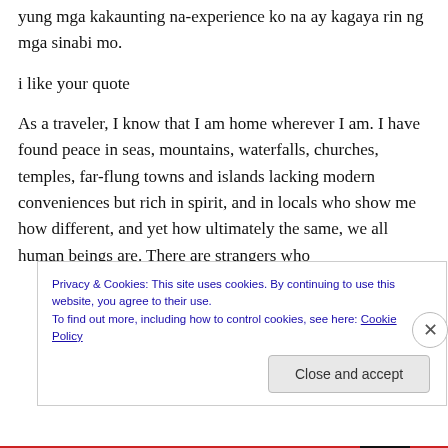yung mga kakaunting na-experience ko na ay kagaya rin ng mga sinabi mo.
i like your quote
As a traveler, I know that I am home wherever I am. I have found peace in seas, mountains, waterfalls, churches, temples, far-flung towns and islands lacking modern conveniences but rich in spirit, and in locals who show me how different, and yet how ultimately the same, we all human beings are. There are strangers who
Privacy & Cookies: This site uses cookies. By continuing to use this website, you agree to their use.
To find out more, including how to control cookies, see here: Cookie Policy
Close and accept